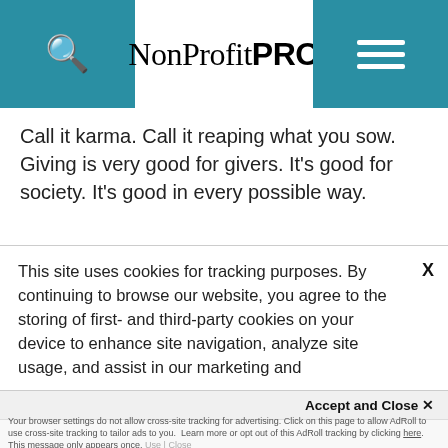NonProfit PRO
Call it karma. Call it reaping what you sow. Giving is very good for givers. It's good for society. It's good in every possible way.
The State of Nonprofit Technology
Download this asset for actionable takeaways to enhance your fundraising, communication, and leadership strategies
This site uses cookies for tracking purposes. By continuing to browse our website, you agree to the storing of first- and third-party cookies on your device to enhance site navigation, analyze site usage, and assist in our marketing and
Accept and Close ✕
Your browser settings do not allow cross-site tracking for advertising. Click on this page to allow AdRoll to use cross-site tracking to tailor ads to you. Learn more or opt out of this AdRoll tracking by clicking here. This message only appears once.